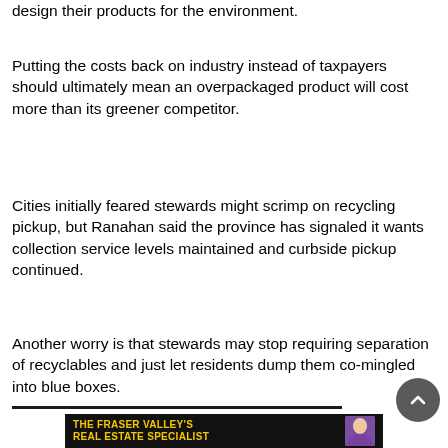design their products for the environment.
Putting the costs back on industry instead of taxpayers should ultimately mean an overpackaged product will cost more than its greener competitor.
Cities initially feared stewards might scrimp on recycling pickup, but Ranahan said the province has signaled it wants collection service levels maintained and curbside pickup continued.
Another worry is that stewards may stop requiring separation of recyclables and just let residents dump them co-mingled into blue boxes.
[Figure (other): Advertisement banner for The Fraser Valley's Real Estate Specialist with yellow text on black background and photo of a woman]